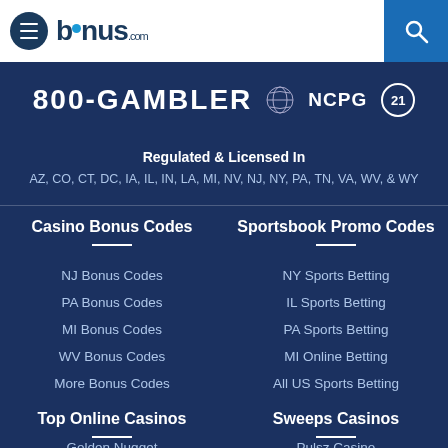bonus.com navigation bar with hamburger menu and search
[Figure (logo): bonus.com logo with hamburger menu icon on left and search icon on right]
800-GAMBLER  NCPG  21
Regulated & Licensed In
AZ, CO, CT, DC, IA, IL, IN, LA, MI, NV, NJ, NY, PA, TN, VA, WV, & WY
Casino Bonus Codes
NJ Bonus Codes
PA Bonus Codes
MI Bonus Codes
WV Bonus Codes
More Bonus Codes
Sportsbook Promo Codes
NY Sports Betting
IL Sports Betting
PA Sports Betting
MI Online Betting
All US Sports Betting
Top Online Casinos
Sweeps Casinos
Golden Nugget
Pulsz Casino